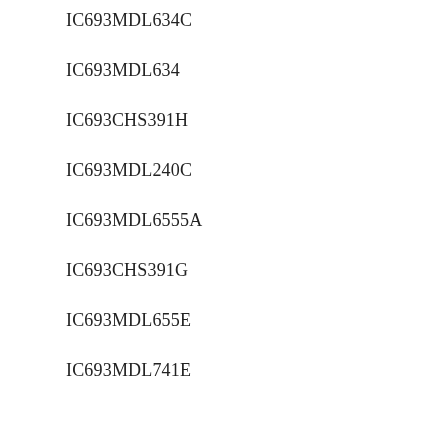IC693MDL634C
IC693MDL634
IC693CHS391H
IC693MDL240C
IC693MDL6555A
IC693CHS391G
IC693MDL655E
IC693MDL741E